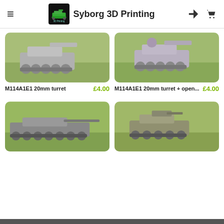Syborg 3D Printing
[Figure (photo): 3D printed M114A1E1 armored vehicle model with 20mm turret, gray resin, on green background]
[Figure (photo): 3D printed M114A1E1 armored vehicle model with 20mm turret and open hatch, gray resin, on green background]
M114A1E1 20mm turret
£4.00
M114A1E1 20mm turret + open...
£4.00
[Figure (photo): 3D printed tank model with long gun barrel, gray/dark resin, on green background]
[Figure (photo): 3D printed armored vehicle model with top-mounted weapon system, olive/gray resin, on green background]